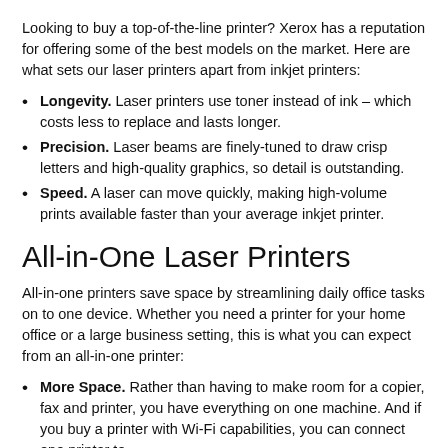Looking to buy a top-of-the-line printer? Xerox has a reputation for offering some of the best models on the market. Here are what sets our laser printers apart from inkjet printers:
Longevity. Laser printers use toner instead of ink – which costs less to replace and lasts longer.
Precision. Laser beams are finely-tuned to draw crisp letters and high-quality graphics, so detail is outstanding.
Speed. A laser can move quickly, making high-volume prints available faster than your average inkjet printer.
All-in-One Laser Printers
All-in-one printers save space by streamlining daily office tasks on to one device. Whether you need a printer for your home office or a large business setting, this is what you can expect from an all-in-one printer:
More Space. Rather than having to make room for a copier, fax and printer, you have everything on one machine. And if you buy a printer with Wi-Fi capabilities, you can connect one printer to